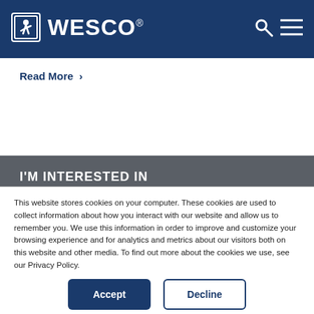[Figure (logo): WESCO logo with icon on dark blue header background, plus search and menu icons on the right]
Read More >
I'M INTERESTED IN
This website stores cookies on your computer. These cookies are used to collect information about how you interact with our website and allow us to remember you. We use this information in order to improve and customize your browsing experience and for analytics and metrics about our visitors both on this website and other media. To find out more about the cookies we use, see our Privacy Policy.
Accept
Decline